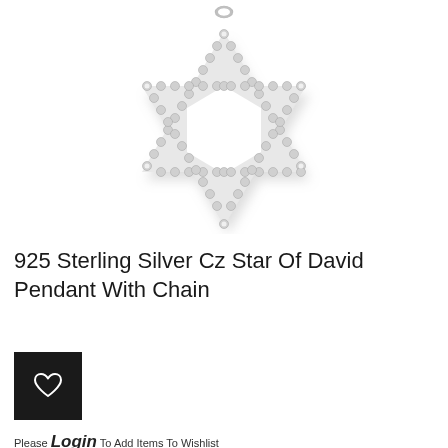[Figure (photo): A 925 sterling silver cubic zirconia Star of David pendant with chain. The star-shaped pendant is set with small round CZ stones along its edges, shown on a white background.]
925 Sterling Silver Cz Star Of David Pendant With Chain
[Figure (other): Black square button with a white heart/wishlist icon]
Please Login To Add Items To Wishlist